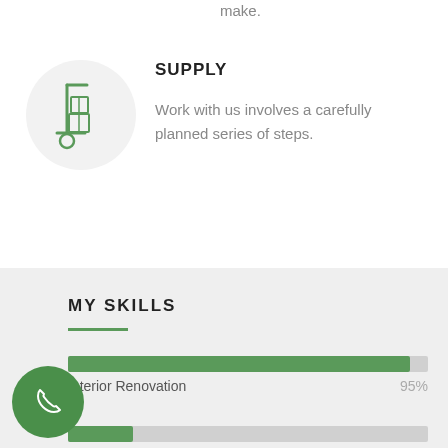make.
SUPPLY
[Figure (illustration): Green line-art icon of a hand truck/dolly with boxes on it, inside a light gray circle]
Work with us involves a carefully planned series of steps.
MY SKILLS
[Figure (bar-chart): Interior Renovation]
[Figure (illustration): Green circle button with white phone handset icon]